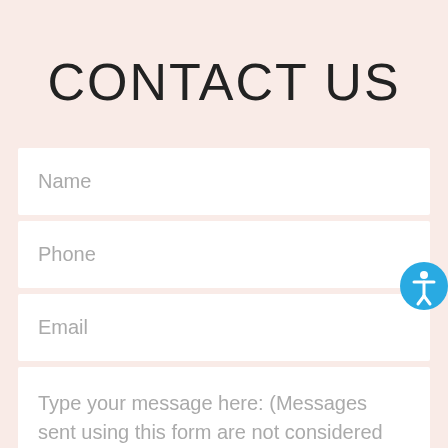CONTACT US
Name
Phone
Email
Type your message here: (Messages sent using this form are not considered private. Avoid sending confidential information via email)